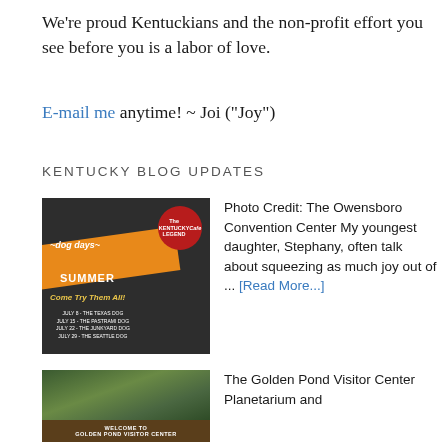We're proud Kentuckians and the non-profit effort you see before you is a labor of love.
E-mail me anytime! ~ Joi (“Joy”)
KENTUCKY BLOG UPDATES
[Figure (photo): Dog Days of Summer promotional image for The Kentucky Legend Cafe, featuring a hot dog and event dates in July]
Photo Credit: The Owensboro Convention Center My youngest daughter, Stephany, often talk about squeezing as much joy out of ... [Read More...]
[Figure (photo): Welcome to Golden Pond Visitor Center sign surrounded by green foliage]
The Golden Pond Visitor Center Planetarium and